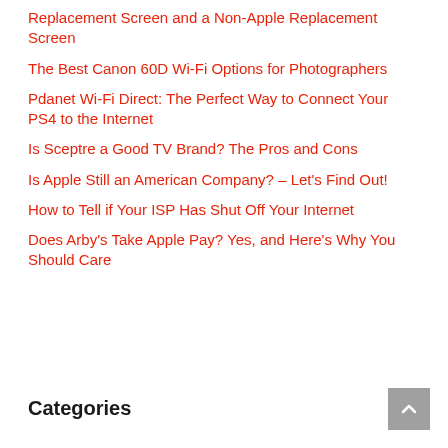Replacement Screen and a Non-Apple Replacement Screen
The Best Canon 60D Wi-Fi Options for Photographers
Pdanet Wi-Fi Direct: The Perfect Way to Connect Your PS4 to the Internet
Is Sceptre a Good TV Brand? The Pros and Cons
Is Apple Still an American Company? – Let's Find Out!
How to Tell if Your ISP Has Shut Off Your Internet
Does Arby's Take Apple Pay? Yes, and Here's Why You Should Care
Categories